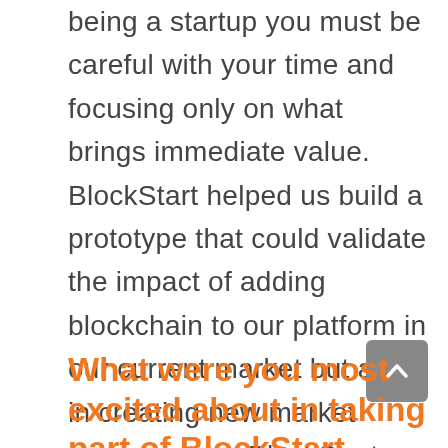being a startup you must be careful with your time and focusing only on what brings immediate value. BlockStart helped us build a prototype that could validate the impact of adding blockchain to our platform in our current market but also in creating new market opportunities. BlockStart guided us in the design and implementation of our updated value proposition, business model and go-to-market strategy complementing our logistics monitoring platform with blockchain asset provenance certification.
What were you most excited about in taking part of BlockStart